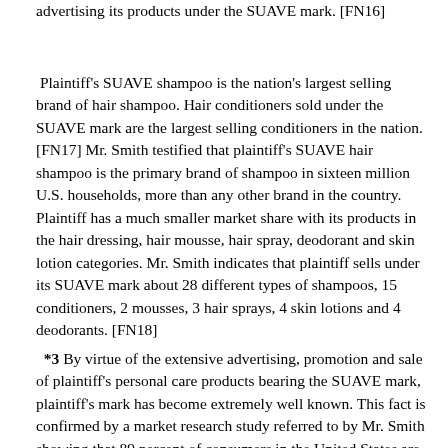advertising its products under the SUAVE mark. [FN16]
Plaintiff's SUAVE shampoo is the nation's largest selling brand of hair shampoo. Hair conditioners sold under the SUAVE mark are the largest selling conditioners in the nation. [FN17] Mr. Smith testified that plaintiff's SUAVE hair shampoo is the primary brand of shampoo in sixteen million U.S. households, more than any other brand in the country. Plaintiff has a much smaller market share with its products in the hair dressing, hair mousse, hair spray, deodorant and skin lotion categories. Mr. Smith indicates that plaintiff sells under its SUAVE mark about 28 different types of shampoos, 15 conditioners, 2 mousses, 3 hair sprays, 4 skin lotions and 4 deodorants. [FN18]
*3 By virtue of the extensive advertising, promotion and sale of plaintiff's personal care products bearing the SUAVE mark, plaintiff's mark has become extremely well known. This fact is confirmed by a market research study referred to by Mr. Smith showing that 89 percent of consumers in the United States are aware of the SUAVE